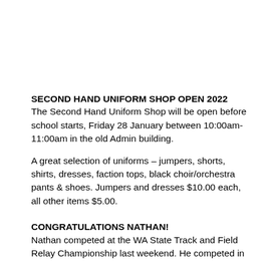SECOND HAND UNIFORM SHOP OPEN 2022
The Second Hand Uniform Shop will be open before school starts, Friday 28 January between 10:00am-11:00am in the old Admin building.
A great selection of uniforms – jumpers, shorts, shirts, dresses, faction tops, black choir/orchestra pants & shoes. Jumpers and dresses $10.00 each, all other items $5.00.
CONGRATULATIONS NATHAN!
Nathan competed at the WA State Track and Field Relay Championship last weekend. He competed in